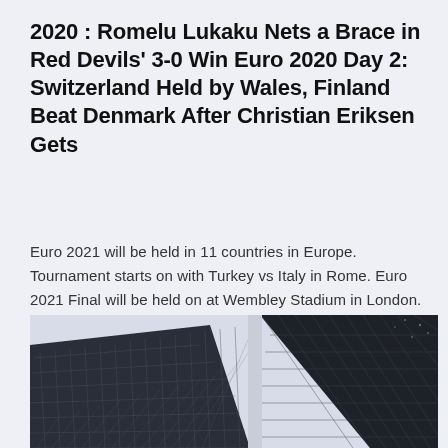2020 : Romelu Lukaku Nets a Brace in Red Devils' 3-0 Win Euro 2020 Day 2: Switzerland Held by Wales, Finland Beat Denmark After Christian Eriksen Gets
Euro 2021 will be held in 11 countries in Europe. Tournament starts on with Turkey vs Italy in Rome. Euro 2021 Final will be held on at Wembley Stadium in London.
[Figure (photo): Architectural photograph showing dark grid-patterned building facades/panels at angles, with a light gray sky background. Two large dark angular structures with diamond/square mesh patterns visible.]